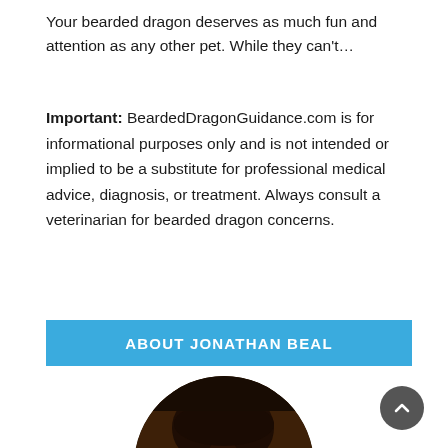Your bearded dragon deserves as much fun and attention as any other pet. While they can't…
Important: BeardedDragonGuidance.com is for informational purposes only and is not intended or implied to be a substitute for professional medical advice, diagnosis, or treatment. Always consult a veterinarian for bearded dragon concerns.
ABOUT JONATHAN BEAL
[Figure (photo): Circular cropped portrait photo of Jonathan Beal showing hair and top of face]